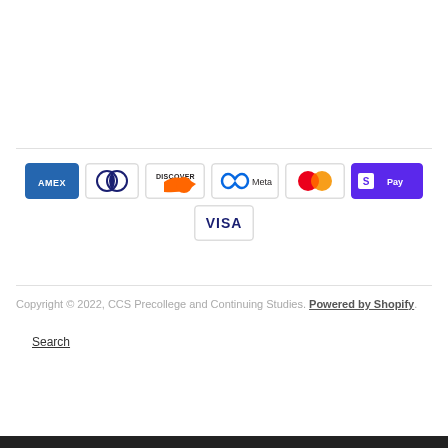[Figure (logo): Payment method icons: American Express, Diners Club, Discover, Meta Pay, Mastercard, Shopify Pay, Visa]
Copyright © 2022, CCS Precollege and Continuing Studies. Powered by Shopify.
Search